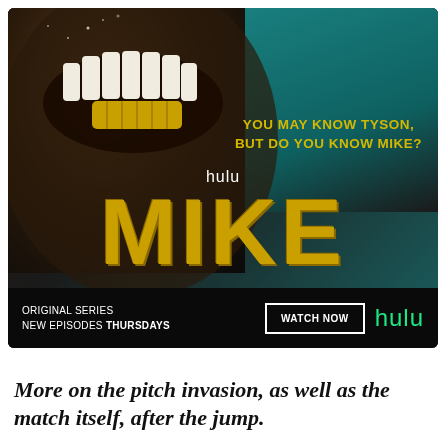[Figure (photo): Hulu advertisement for the original series 'MIKE'. Shows a close-up of a man's face with an open mouth showing gold bottom teeth against a teal/dark background. Text reads 'YOU MAY KNOW TYSON, BUT DO YOU KNOW MIKE?' with large gold 'MIKE' lettering. Bottom bar includes 'ORIGINAL SERIES NEW EPISODES THURSDAYS', 'WATCH NOW' button, and Hulu logo in green.]
POWERED BY CONCERT   FEEDBACK
More on the pitch invasion, as well as the match itself, after the jump.